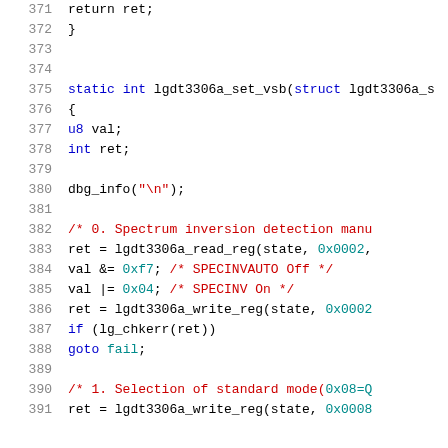371   return ret;
372   }
373
374
375   static int lgdt3306a_set_vsb(struct lgdt3306a_s
376   {
377       u8 val;
378       int ret;
379
380       dbg_info("\n");
381
382       /* 0. Spectrum inversion detection manu
383       ret = lgdt3306a_read_reg(state, 0x0002,
384       val &= 0xf7; /* SPECINVAUTO Off */
385       val |= 0x04; /* SPECINV On */
386       ret = lgdt3306a_write_reg(state, 0x0002
387       if (lg_chkerr(ret))
388           goto fail;
389
390       /* 1. Selection of standard mode(0x08=Q
391       ret = lgdt3306a_write_reg(state, 0x0008